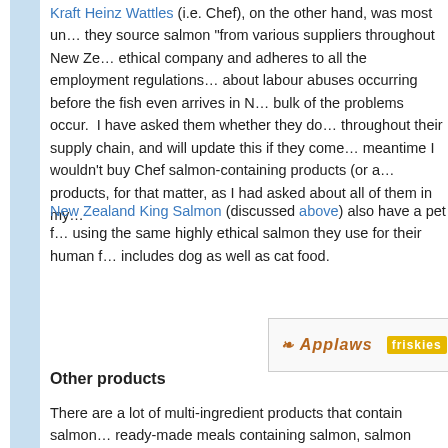Kraft Heinz Wattles (i.e. Chef), on the other hand, was most un... they source salmon "from various suppliers throughout New Ze... ethical company and adheres to all the employment regulations... about labour abuses occurring before the fish even arrives in N... bulk of the problems occur.  I have asked them whether they do... throughout their supply chain, and will update this if they come... meantime I wouldn't buy Chef salmon-containing products (or a... products, for that matter, as I had asked about all of them in my...
New Zealand King Salmon (discussed above) also have a pet f... using the same highly ethical salmon they use for their human f... includes dog as well as cat food.
[Figure (logo): Row of pet food brand logos: Applaws, Friskies, Fancy Feast, Purina ONE]
Other products
There are a lot of multi-ingredient products that contain salmon... ready-made meals containing salmon, salmon sandwich spread... these were the only salmon-containing product a particular bran... brands as it would have been a lot of effort for not much gain.
However, I did notice that Bird's Eye makes salmon-containing... fine as Simplot (the owner of the Bird's Eye brand in Austra...